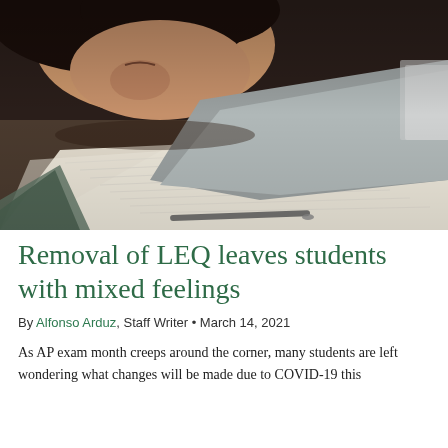[Figure (photo): Close-up photo of a student resting their head on a desk with papers/exam sheets spread out in the foreground, shot from a low angle. Student is wearing a grey hoodie.]
Removal of LEQ leaves students with mixed feelings
By Alfonso Arduz, Staff Writer • March 14, 2021
As AP exam month creeps around the corner, many students are left wondering what changes will be made due to COVID-19 this